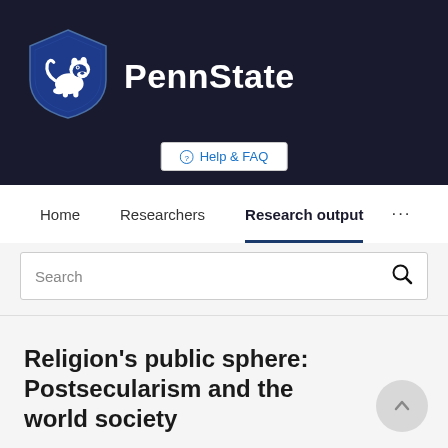[Figure (logo): Penn State university logo with lion shield and PennState wordmark on dark background]
Help & FAQ
Home   Researchers   Research output   ...
Search
Religion's public sphere: Postsecularism and the world society